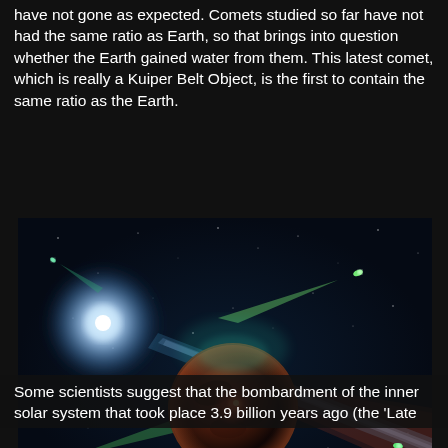have not gone as expected. Comets studied so far have not had the same ratio as Earth, so that brings into question whether the Earth gained water from them. This latest comet, which is really a Kuiper Belt Object, is the first to contain the same ratio as the Earth.
[Figure (illustration): Artistic illustration of a dark rocky body (Kuiper Belt Object/comet) in space surrounded by multiple comets with glowing tails, stars, and a bright light source on the left representing the Sun. Large sweeping blue and red dust/gas tails extend from the central dark sphere.]
Some scientists suggest that the bombardment of the inner solar system that took place 3.9 billion years ago (the 'Late